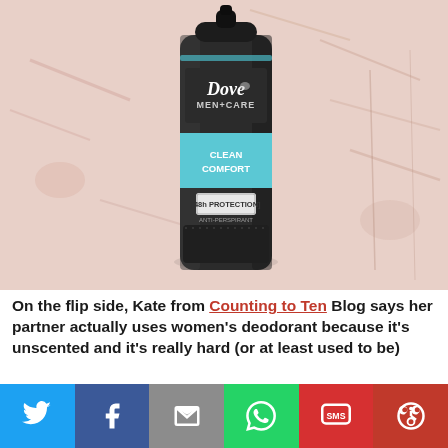[Figure (photo): Dove Men+Care Clean Comfort aerosol deodorant spray can in dark grey/black, photographed against a pale pink/cream textured background.]
On the flip side, Kate from Counting to Ten Blog says her partner actually uses women's deodorant because it's unscented and it's really hard (or at least used to be)
[Figure (infographic): Social sharing bar with icons for Twitter, Facebook, Email, WhatsApp, SMS, and More options.]